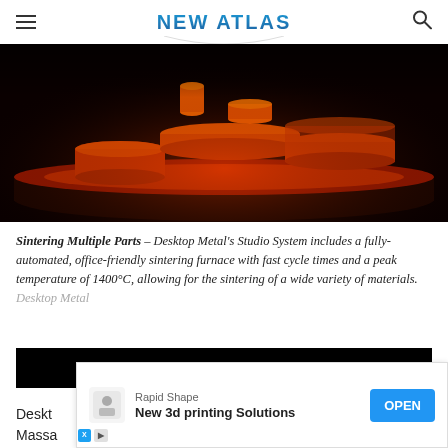NEW ATLAS
[Figure (photo): Red-orange glowing metal parts being sintered in a furnace, cylindrical and disc-shaped forms arranged on a dark platform, dramatic industrial lighting]
Sintering Multiple Parts – Desktop Metal's Studio System includes a fully-automated, office-friendly sintering furnace with fast cycle times and a peak temperature of 1400°C, allowing for the sintering of a wide variety of materials. Desktop Metal
VIEW GALLERY - 14 IMAGES
Desktop Metal     Massa
[Figure (other): Advertisement overlay: Rapid Shape — New 3d printing Solutions with OPEN button]